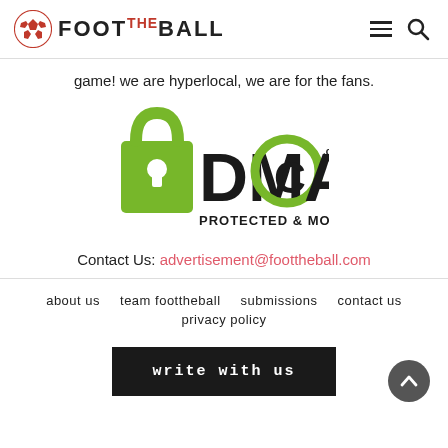FOOT THE BALL — navigation header with logo, hamburger menu, and search icon
game! we are hyperlocal, we are for the fans.
[Figure (logo): DMCA.com Protected & Monitored badge logo with green padlock icon]
Contact Us: advertisement@foottheball.com
about us   team foottheball   submissions   contact us   privacy policy   write with us